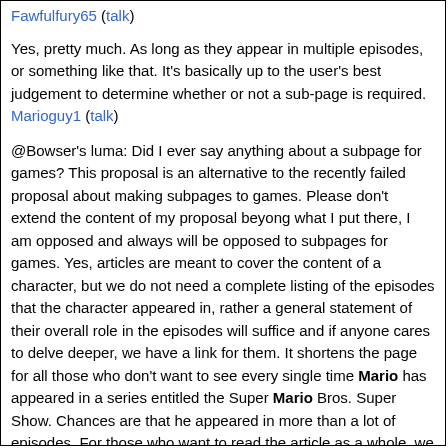Fawfulfury65 (talk)
Yes, pretty much. As long as they appear in multiple episodes, or something like that. It's basically up to the user's best judgement to determine whether or not a sub-page is required. Marioguy1 (talk)
@Bowser's luma: Did I ever say anything about a subpage for games? This proposal is an alternative to the recently failed proposal about making subpages to games. Please don't extend the content of my proposal beyong what I put there, I am opposed and always will be opposed to subpages for games. Yes, articles are meant to cover the content of a character, but we do not need a complete listing of the episodes that the character appeared in, rather a general statement of their overall role in the episodes will suffice and if anyone cares to delve deeper, we have a link for them. It shortens the page for all those who don't want to see every single time Mario has appeared in a series entitled the Super Mario Bros. Super Show. Chances are that he appeared in more than a lot of episodes. For those who want to read the article as a whole, we have a paragraph describing how he was the hero in the shows and he fought